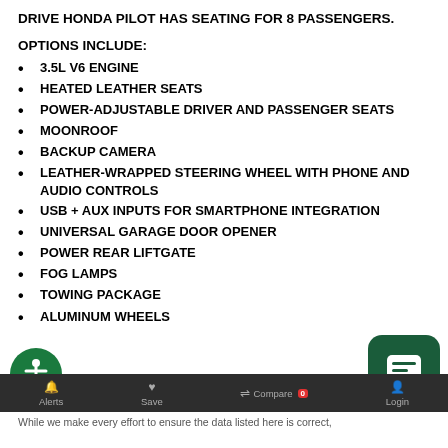DRIVE HONDA PILOT HAS SEATING FOR 8 PASSENGERS.
OPTIONS INCLUDE:
3.5L V6 ENGINE
HEATED LEATHER SEATS
POWER-ADJUSTABLE DRIVER AND PASSENGER SEATS
MOONROOF
BACKUP CAMERA
LEATHER-WRAPPED STEERING WHEEL WITH PHONE AND AUDIO CONTROLS
USB + AUX INPUTS FOR SMARTPHONE INTEGRATION
UNIVERSAL GARAGE DOOR OPENER
POWER REAR LIFTGATE
FOG LAMPS
TOWING PACKAGE
ALUMINUM WHEELS
red Automotive Group applies a Doc Fee of $199, Indiana Sales Tax and Title Fees, to the final purchase every vehicle sale.
Alerts  Save  Compare 0  Login
While we make every effort to ensure the data listed here is correct,